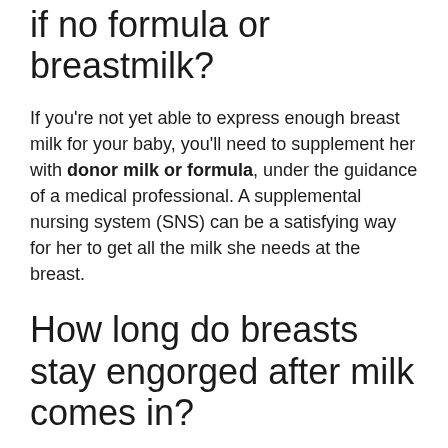if no formula or breastmilk?
If you're not yet able to express enough breast milk for your baby, you'll need to supplement her with donor milk or formula, under the guidance of a medical professional. A supplemental nursing system (SNS) can be a satisfying way for her to get all the milk she needs at the breast.
How long do breasts stay engorged after milk comes in?
Signs & Symptoms of Engorgement
Engorgement typically begins on the 3rd to 5th day after birth and subsides within 12...